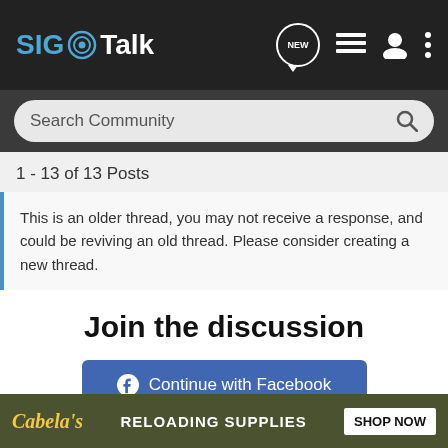SIG Talk
Search Community
1 - 13 of 13 Posts
This is an older thread, you may not receive a response, and could be reviving an old thread. Please consider creating a new thread.
Join the discussion
Continue with Facebook
Continue with Google
or sign up with email
[Figure (screenshot): Cabelas advertisement banner: RELOADING SUPPLIES with SHOP NOW button]